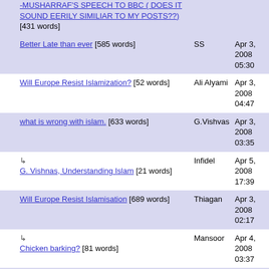|  | Post | Author | Date |
| --- | --- | --- | --- |
|  | -MUSHARRAF'S SPEECH TO BBC ( DOES IT SOUND EERILY SIMILIAR TO MY POSTS??) [431 words] |  |  |
|  | Better Late than ever [585 words] | SS | Apr 3, 2008 05:30 |
|  | Will Europe Resist Islamization? [52 words] | Ali Alyami | Apr 3, 2008 04:47 |
|  | what is wrong with islam. [633 words] | G.Vishvas | Apr 3, 2008 03:35 |
| ↳ | G. Vishnas, Understanding Islam [21 words] | Infidel | Apr 5, 2008 17:39 |
|  | Will Europe Resist Islamisation [689 words] | Thiagan | Apr 3, 2008 02:17 |
| ↳ | Chicken barking? [81 words] | Mansoor | Apr 4, 2008 03:37 |
| ↳ | Chicken barking [52 words] | Thiagan | Apr 5, 2008 04:24 |